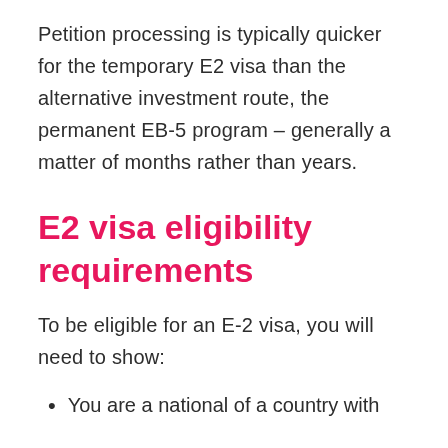Petition processing is typically quicker for the temporary E2 visa than the alternative investment route, the permanent EB-5 program – generally a matter of months rather than years.
E2 visa eligibility requirements
To be eligible for an E-2 visa, you will need to show:
You are a national of a country with